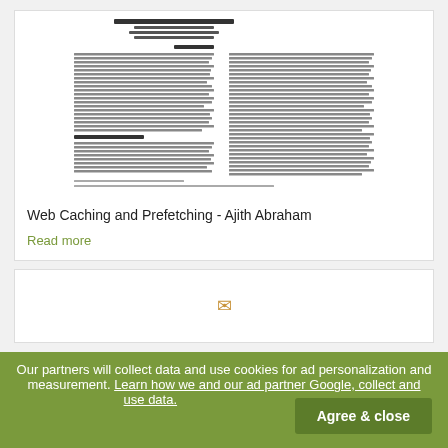[Figure (screenshot): Preview thumbnail of a scientific paper titled 'Web Caching and Prefetching' by Ajith Abraham, showing abstract and introduction sections in small text]
Web Caching and Prefetching - Ajith Abraham
Read more
[Figure (other): Second card with envelope icon]
Our partners will collect data and use cookies for ad personalization and measurement. Learn how we and our ad partner Google, collect and use data.
Agree & close